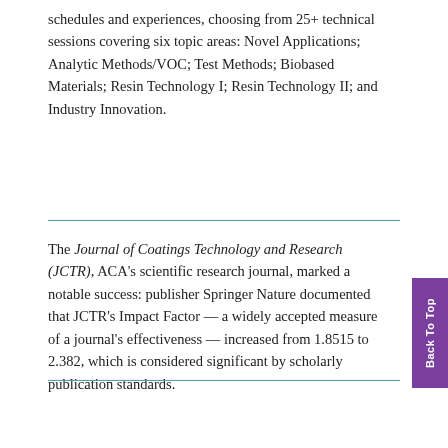schedules and experiences, choosing from 25+ technical sessions covering six topic areas: Novel Applications; Analytic Methods/VOC; Test Methods; Biobased Materials; Resin Technology I; Resin Technology II; and Industry Innovation.
The Journal of Coatings Technology and Research (JCTR), ACA's scientific research journal, marked a notable success: publisher Springer Nature documented that JCTR's Impact Factor — a widely accepted measure of a journal's effectiveness — increased from 1.8515 to 2.382, which is considered significant by scholarly publication standards.